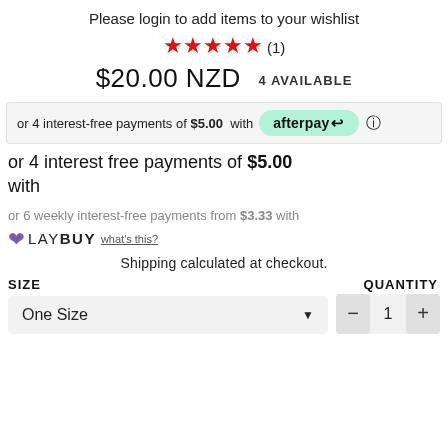Please login to add items to your wishlist
★★★★★ (1)
$20.00 NZD   4 AVAILABLE
or 4 interest-free payments of $5.00 with afterpay ⓘ
or 4 interest free payments of $5.00 with
or 6 weekly interest-free payments from $3.33 with LAYBUY what's this?
Shipping calculated at checkout.
SIZE
QUANTITY
One Size
1